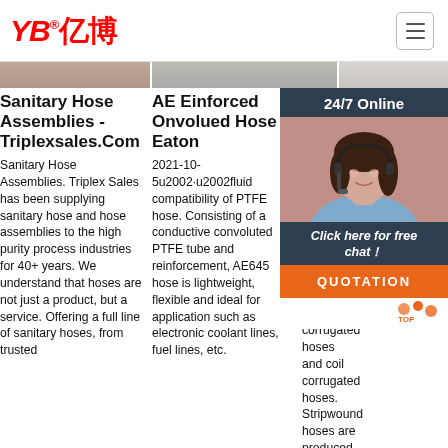YB亿博® [hamburger menu]
[Figure (photo): Banner strip with partial background images across three columns]
Sanitary Hose Assemblies - Triplexsales.Com
AE Einforced Onvolued Hose - Eaton
Fle Ho
Sanitary Hose Assemblies. Triplex Sales has been supplying sanitary hose and hose assemblies to the high purity process industries for 40+ years. We understand that hoses are not just a product, but a service. Offering a full line of sanitary hoses, from trusted
2021-10-5u2002·u2002fluid compatibility of PTFE hose. Consisting of a conductive convoluted PTFE tube and reinforcement, AE645 hose is lightweight, flexible and ideal for application such as electronic coolant lines, fuel lines, etc.
202 9u2 hos wal con cor in th The cor differentiates annularly corrugated hoses and coil corrugated hoses. Stripwound hoses are produced in a continuous
[Figure (photo): 24/7 Online chat widget with woman wearing headset, Click here for free chat! button, and QUOTATION button]